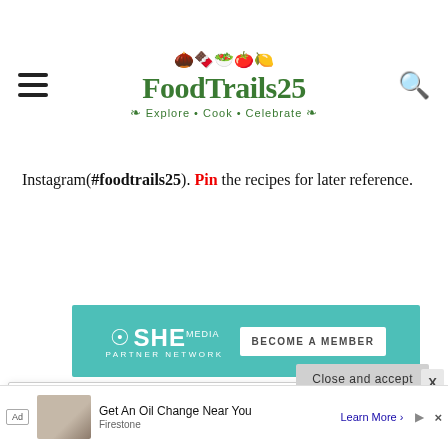FoodTrails25 – Explore • Cook • Celebrate
Instagram(#foodtrails25). Pin the recipes for later reference.
[Figure (logo): SHE Media Partner Network – Become a Member banner (teal background)]
Privacy & Cookies: This site uses cookies. By continuing to use this website, you agree to their use.
To find out more, including how to control cookies, see here: Cookie Policy
Close and accept
[Figure (screenshot): Ad: Get An Oil Change Near You – Firestone – Learn More]